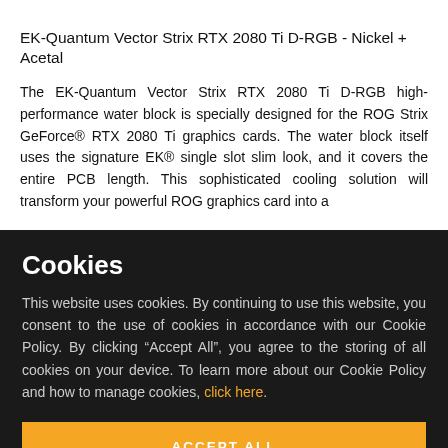EK-Quantum Vector Strix RTX 2080 Ti D-RGB - Nickel + Acetal
The EK-Quantum Vector Strix RTX 2080 Ti D-RGB high-performance water block is specially designed for the ROG Strix GeForce® RTX 2080 Ti graphics cards. The water block itself uses the signature EK® single slot slim look, and it covers the entire PCB length. This sophisticated cooling solution will transform your powerful ROG graphics card into a
Cookies
This website uses cookies. By continuing to use this website, you consent to the use of cookies in accordance with our Cookie Policy. By clicking "Accept All", you agree to the storing of all cookies on your device. To learn more about our Cookie Policy and how to manage cookies, click here.
ACCEPT ALL
SETTINGS >